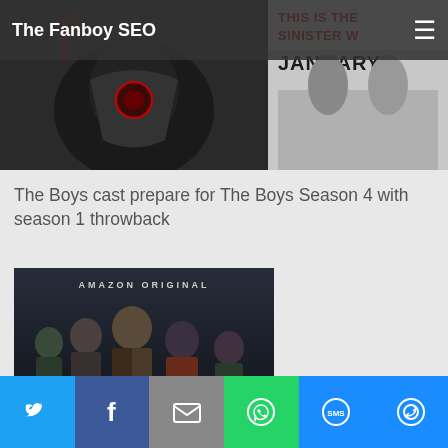The Fanboy SEO
[Figure (photo): Top banner image showing partial movie/show promotional artwork with text 'THIS IS THE SINISTER W... JANUARY 1' visible]
The Boys cast prepare for The Boys Season 4 with season 1 throwback
[Figure (photo): Amazon Original promotional poster for The Boys showing cast members standing together in dark moody lighting, with 'AMAZON ORIGINAL' text at top and 'THE BOYS' logo at bottom]
[Figure (infographic): Social share bar with Twitter, Facebook, Email, WhatsApp, SMS, and More buttons]